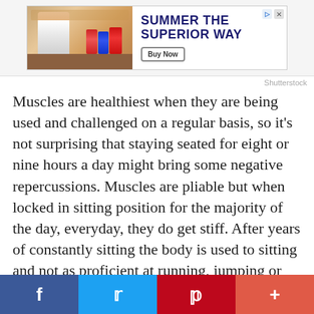[Figure (photo): Advertisement banner: SUMMER THE SUPERIOR WAY with Buy Now button and photo of person at a table with beverages]
Shutterstock
Muscles are healthiest when they are being used and challenged on a regular basis, so it’s not surprising that staying seated for eight or nine hours a day might bring some negative repercussions. Muscles are pliable but when locked in sitting position for the majority of the day, everyday, they do get stiff. After years of constantly sitting the body is used to sitting and not as proficient at running, jumping or even standing. Researchers believe this might be part of the reason elderly people have such a hard
[Figure (infographic): Social media sharing bar with Facebook, Twitter, Pinterest, and plus button icons]